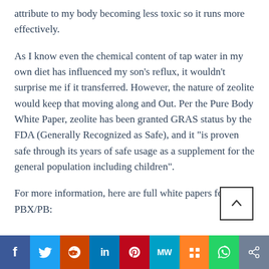attribute to my body becoming less toxic so it runs more effectively.
As I know even the chemical content of tap water in my own diet has influenced my son's reflux, it wouldn't surprise me if it transferred. However, the nature of zeolite would keep that moving along and Out. Per the Pure Body White Paper, zeolite has been granted GRAS status by the FDA (Generally Recognized as Safe), and it "is proven safe through its years of safe usage as a supplement for the general population including children".
For more information, here are full white papers for PBX/PB: